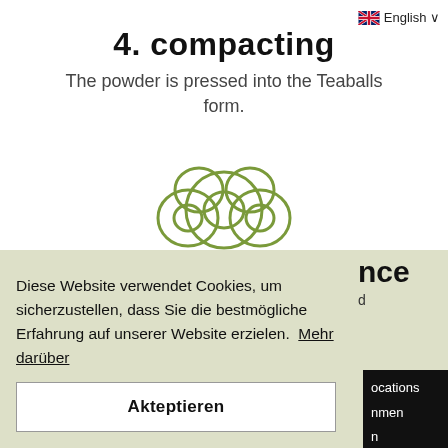English
4. compacting
The powder is pressed into the Teaballs form.
[Figure (illustration): Green line-art illustration of three stacked Teaballs (spherical compressed tea pellets)]
Diese Website verwendet Cookies, um sicherzustellen, dass Sie die bestmögliche Erfahrung auf unserer Website erzielen.  Mehr darüber
Akteptieren